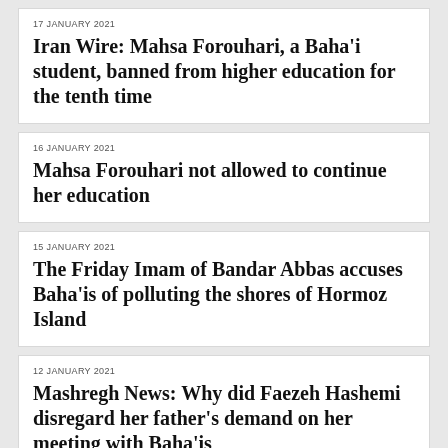17 JANUARY 2021
Iran Wire: Mahsa Forouhari, a Baha'i student, banned from higher education for the tenth time
16 JANUARY 2021
Mahsa Forouhari not allowed to continue her education
15 JANUARY 2021
The Friday Imam of Bandar Abbas accuses Baha'is of polluting the shores of Hormoz Island
12 JANUARY 2021
Mashregh News: Why did Faezeh Hashemi disregard her father's demand on her meeting with Baha'is